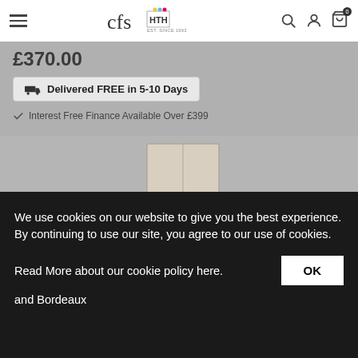[Figure (screenshot): CFS website header with hamburger menu, CFS HTH logo, search icon, account icon, and cart icon with 0 badge]
£370.00
Delivered FREE in 5-10 Days
Interest Free Finance Available Over £399
[Figure (photo): Tall white/cream wardrobe or cabinet product image on grey background]
We use cookies on our website to give you the best experience. By continuing to use our site, you agree to our use of cookies.
Read More about our cookie policy here.
OK
and Bordeaux